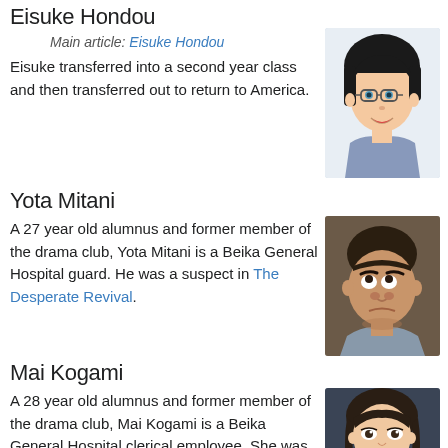Eisuke Hondou
Main article: Eisuke Hondou
Eisuke transferred into a second year class and then transferred out to return to America.
[Figure (illustration): Anime character portrait of Eisuke Hondou, a young male with black hair and glasses, smiling.]
Yota Mitani
A 27 year old alumnus and former member of the drama club, Yota Mitani is a Beika General Hospital guard. He was a suspect in The Desperate Revival.
[Figure (illustration): Anime character portrait of Yota Mitani, a middle-aged man with dark hair and a round face looking upward.]
Mai Kogami
A 28 year old alumnus and former member of the drama club, Mai Kogami is a Beika General Hospital clerical employee. She was a suspect in The Desperate Revival.
[Figure (illustration): Anime character portrait of Mai Kogami, a young woman with dark brown hair.]